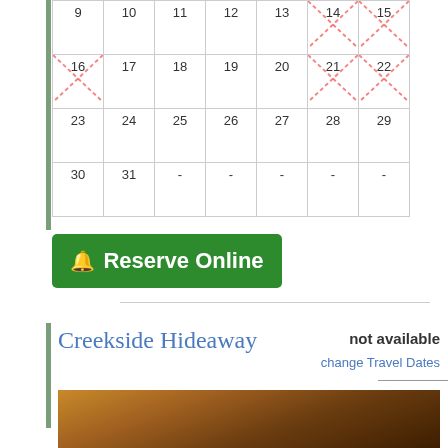|  |  |  |  |  |  |  |
| --- | --- | --- | --- | --- | --- | --- |
| 9 | 10 | 11 | 12 | 13 | 14 (X) | 15 (X) |
| 16 (X) | 17 | 18 | 19 | 20 | 21 (X) | 22 (X) |
| 23 | 24 | 25 | 26 | 27 | 28 | 29 |
| 30 | 31 | - | - | - | - | - |
Reserve Online
Creekside Hideaway
not available
change Travel Dates
[Figure (photo): Interior photo of a rustic wooden cabin ceiling with exposed beams and warm wood tones]